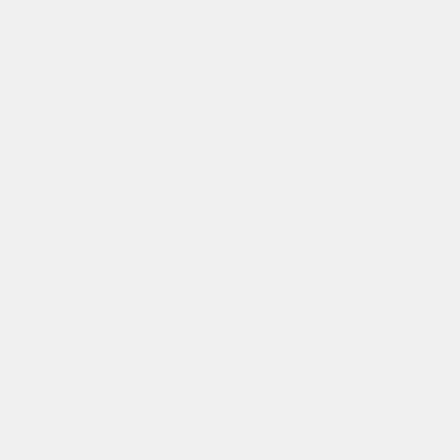to am| ride Ask Me Any / Em Pro / All Cha Her / Con to Tsa or rein as a pub SHI Ne Gen Tan flas in from of